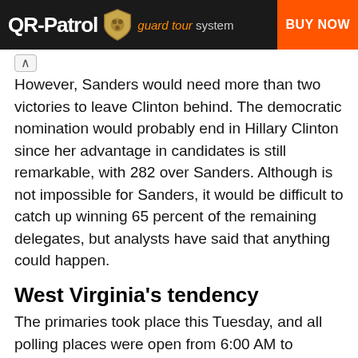[Figure (other): QR-Patrol guard tour system advertisement banner with dark background, shield logo, orange tagline text, and orange BUY NOW button]
However, Sanders would need more than two victories to leave Clinton behind. The democratic nomination would probably end in Hillary Clinton since her advantage in candidates is still remarkable, with 282 over Sanders. Although is not impossible for Sanders, it would be difficult to catch up winning 65 percent of the remaining delegates, but analysts have said that anything could happen.
West Virginia's tendency
The primaries took place this Tuesday, and all polling places were open from 6:00 AM to 7:00PM. West Virginia is an open primary state, which translates into the possibility for independents to cast ballots.
The state is mostly democrat, according to the exit polls